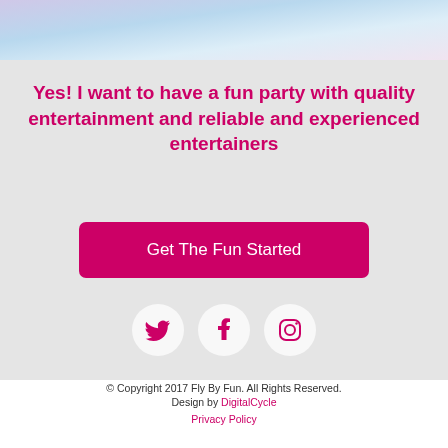[Figure (illustration): Top banner with soft pastel gradient colors — lavender, blue, and pink tones]
Yes! I want to have a fun party with quality entertainment and reliable and experienced entertainers
[Figure (other): Pink CTA button labeled 'Get The Fun Started']
[Figure (other): Three social media icon circles (Twitter, Facebook, Instagram) with pink icons on white/light backgrounds]
© Copyright 2017 Fly By Fun. All Rights Reserved. Design by DigitalCycle Privacy Policy